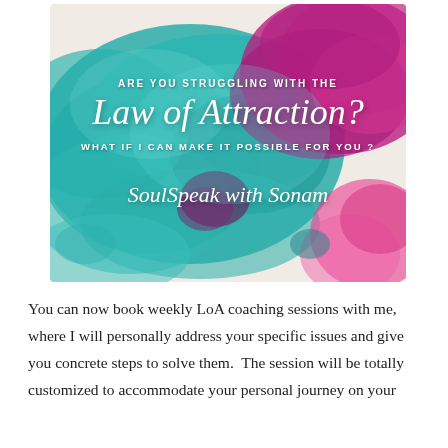[Figure (illustration): Watercolor splashes in teal/turquoise and magenta/pink colors forming an artistic background. Text overlaid reads: 'ARE YOU STRUGGLING WITH THE Law of Attraction? WHAT IF I CAN MAKE IT POSSIBLE FOR YOU?' and 'SoulSpeak with Sonam' in script font.]
You can now book weekly LoA coaching sessions with me, where I will personally address your specific issues and give you concrete steps to solve them. The session will be totally customized to accommodate your personal journey on your